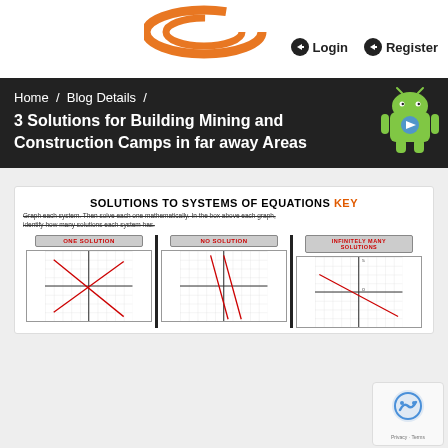[Figure (logo): Orange arc/swoosh logo element at top center]
Login   Register
Home  /  Blog Details  /  3 Solutions for Building Mining and Construction Camps in far away Areas
[Figure (illustration): Android mascot robot icon, green, top right corner of nav bar]
[Figure (screenshot): Math worksheet showing Solutions to Systems of Equations KEY with three graph sections: ONE SOLUTION, NO SOLUTION, INFINITELY MANY SOLUTIONS, each with a coordinate grid and plotted lines]
[Figure (other): reCAPTCHA badge with robot icon and Privacy/Terms links]